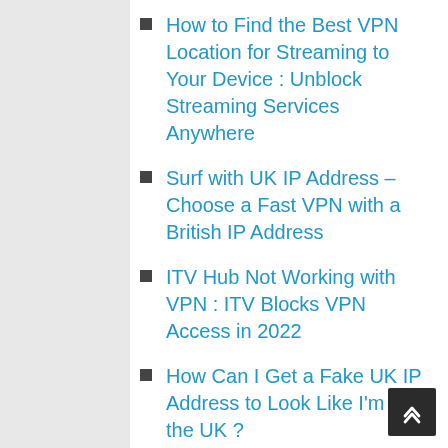How to Find the Best VPN Location for Streaming to Your Device : Unblock Streaming Services Anywhere
Surf with UK IP Address – Choose a Fast VPN with a British IP Address
ITV Hub Not Working with VPN : ITV Blocks VPN Access in 2022
How Can I Get a Fake UK IP Address to Look Like I'm in the UK ?
How to Watch UK TV Anywhere in the World for Free in 2022
Is a US or UK Residential VPN Service Essential in 2022?
Best VPNs with Split Tunneling: How To Use a VPN With Multiple Devices or Browsers